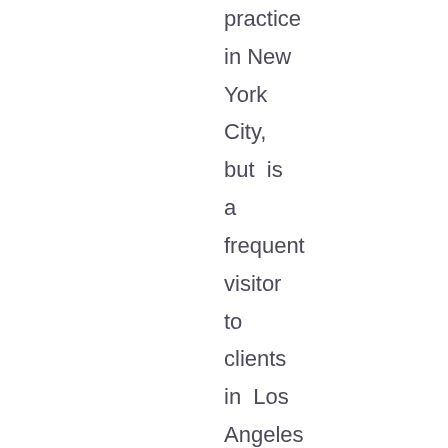practice in New York City, but is a frequent visitor to clients in Los Angeles and eastern Long Island